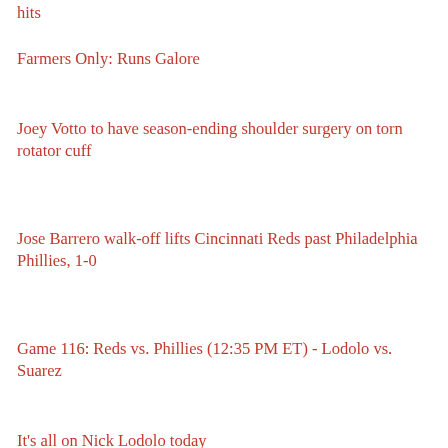hits
Farmers Only: Runs Galore
Joey Votto to have season-ending shoulder surgery on torn rotator cuff
Jose Barrero walk-off lifts Cincinnati Reds past Philadelphia Phillies, 1-0
Game 116: Reds vs. Phillies (12:35 PM ET) - Lodolo vs. Suarez
It's all on Nick Lodolo today